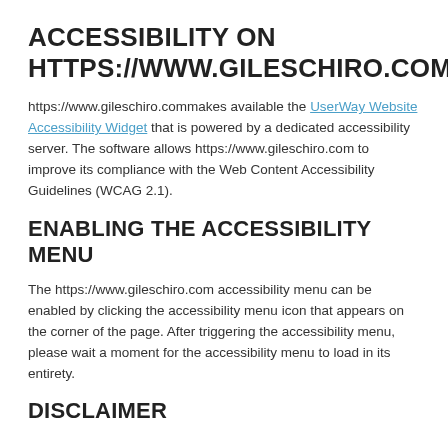ACCESSIBILITY ON HTTPS://WWW.GILESCHIRO.COM
https://www.gileschiro.commakes available the UserWay Website Accessibility Widget that is powered by a dedicated accessibility server. The software allows https://www.gileschiro.com to improve its compliance with the Web Content Accessibility Guidelines (WCAG 2.1).
ENABLING THE ACCESSIBILITY MENU
The https://www.gileschiro.com accessibility menu can be enabled by clicking the accessibility menu icon that appears on the corner of the page. After triggering the accessibility menu, please wait a moment for the accessibility menu to load in its entirety.
DISCLAIMER